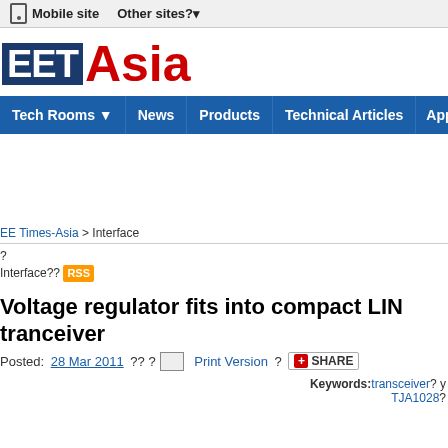Mobile site   Other sites?
[Figure (logo): EET Asia logo with dark blue box containing EET in white and Asia in red]
Tech Rooms | News | Products | Technical Articles | App No
EE Times-Asia > Interface
? Interface?? RSS
Voltage regulator fits into compact LIN tranceiver
Posted: 28 Mar 2011 ?? ? Print Version ? SHARE
Keywords: transceiver? y TJA1028?